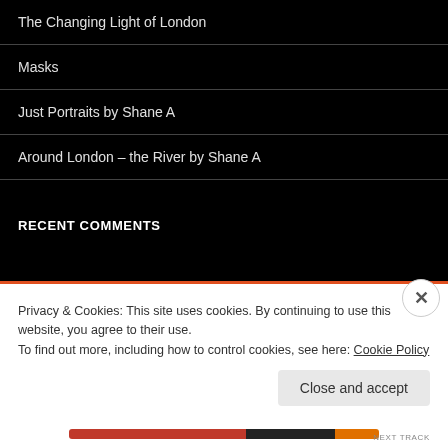The Changing Light of London
Masks
Just Portraits by Shane A
Around London – the River by Shane A
RECENT COMMENTS
ARCHIVES
April 2024
Privacy & Cookies: This site uses cookies. By continuing to use this website, you agree to their use.
To find out more, including how to control cookies, see here: Cookie Policy
Close and accept